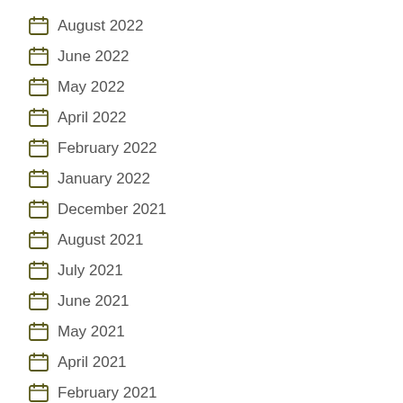August 2022
June 2022
May 2022
April 2022
February 2022
January 2022
December 2021
August 2021
July 2021
June 2021
May 2021
April 2021
February 2021